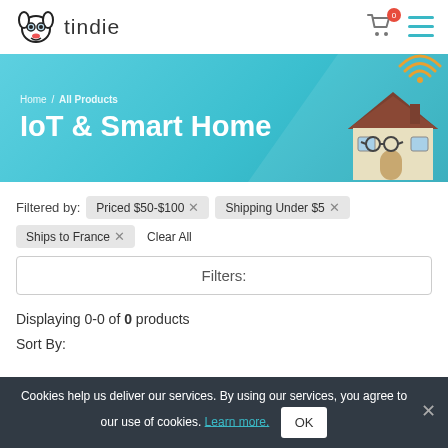tindie
[Figure (screenshot): Tindie website header with dog logo, cart icon with badge '0', and hamburger menu icon]
Home / All Products
IoT & Smart Home
[Figure (illustration): Cartoon house with WiFi signal and glasses, IoT smart home illustration]
Filtered by: Priced $50-$100 × Shipping Under $5 × Ships to France × Clear All
Filters:
Displaying 0-0 of 0 products
Sort By:
Cookies help us deliver our services. By using our services, you agree to our use of cookies. Learn more. OK